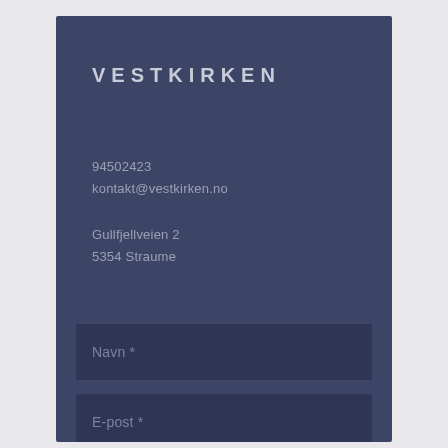VESTKIRKEN
94502423
kontakt@vestkirken.no
Gullfjellveien 2
5354 Straume
Navn *
E-post *
Melding